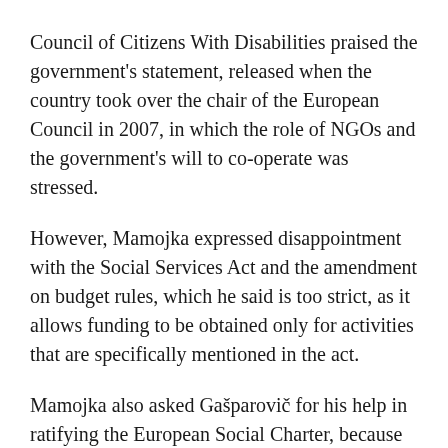Council of Citizens With Disabilities praised the government's statement, released when the country took over the chair of the European Council in 2007, in which the role of NGOs and the government's will to co-operate was stressed.
However, Mamojka expressed disappointment with the Social Services Act and the amendment on budget rules, which he said is too strict, as it allows funding to be obtained only for activities that are specifically mentioned in the act.
Mamojka also asked Gašparovič for his help in ratifying the European Social Charter, because the Government has proposed only limited backing for the document, expressing objections to some parts of it. "These objections are unjustified," he said. TASR